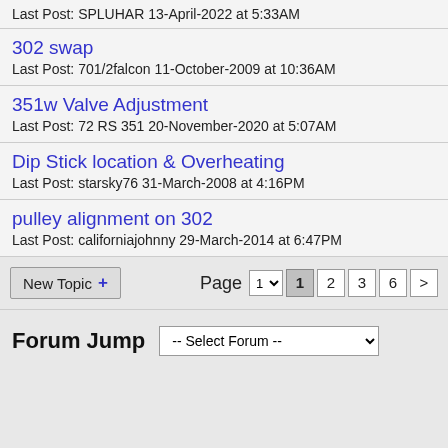Last Post: SPLUHAR 13-April-2022 at 5:33AM
302 swap
Last Post: 701/2falcon 11-October-2009 at 10:36AM
351w Valve Adjustment
Last Post: 72 RS 351 20-November-2020 at 5:07AM
Dip Stick location & Overheating
Last Post: starsky76 31-March-2008 at 4:16PM
pulley alignment on 302
Last Post: californiajohnny 29-March-2014 at 6:47PM
New Topic + | Page 1 2 3 6 >
Forum Jump -- Select Forum --